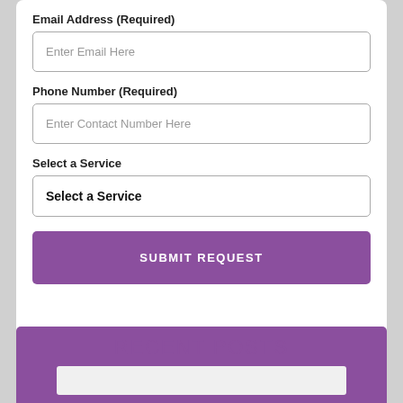Email Address (Required)
Enter Email Here
Phone Number (Required)
Enter Contact Number Here
Select a Service
Select a Service
SUBMIT REQUEST
RECENT POSTS